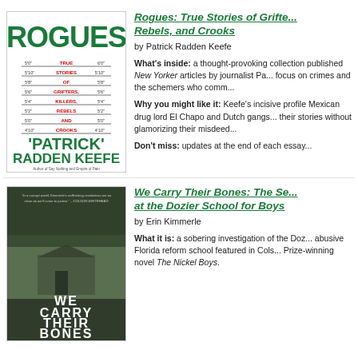[Figure (photo): Book cover for 'Rogues: True Stories of Grifters, Killers, Rebels, and Crooks' by Patrick Radden Keefe, showing a police lineup height chart in green and red text]
Rogues: True Stories of Grifters, Rebels, and Crooks
by Patrick Radden Keefe
What's inside: a thought-provoking collection of published New Yorker articles by journalist Pa... focus on crimes and the schemers who comm...
Why you might like it: Keefe's incisive profile... Mexican drug lord El Chapo and Dutch gangs... their stories without glamorizing their misdeed...
Don't miss: updates at the end of each essay...
[Figure (photo): Book cover for 'We Carry Their Bones: The Search for Justice at the Dozier School for Boys' by Erin Kimmerle, showing a building overgrown with vines]
We Carry Their Bones: The Search for Justice at the Dozier School for Boys
by Erin Kimmerle
What it is: a sobering investigation of the Dozier abusive Florida reform school featured in Colson... Prize-winning novel The Nickel Boys.